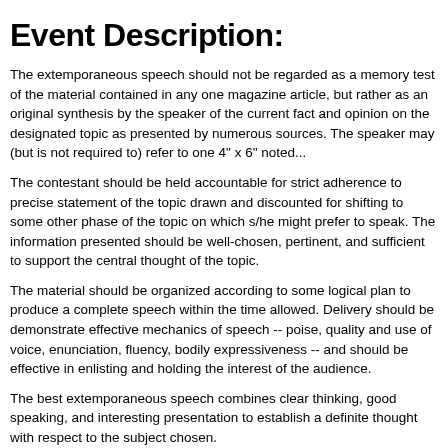Event Description:
The extemporaneous speech should not be regarded as a memory test of the material contained in any one magazine article, but rather as an original synthesis by the speaker of the current fact and opinion on the designated topic as presented by numerous sources. The speaker may (but is not required to) refer to one 4" x 6" notecard.
The contestant should be held accountable for strict adherence to the precise statement of the topic drawn and discounted for shifting to some other phase of the topic on which s/he might prefer to speak. The information presented should be well-chosen, pertinent, and sufficient to support the central thought of the topic.
The material should be organized according to some logical plan to produce a complete speech within the time allowed. Delivery should be demonstrate effective mechanics of speech -- poise, quality and use of voice, enunciation, fluency, bodily expressiveness -- and should be effective in enlisting and holding the interest of the audience.
The best extemporaneous speech combines clear thinking, good speaking, and interesting presentation to establish a definite thought with respect to the subject chosen.